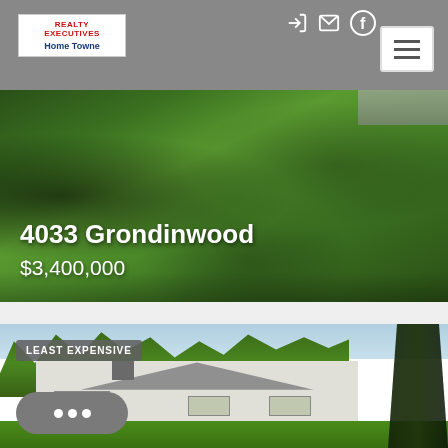[Figure (screenshot): Realty Executives Home Towne website header with logo, navigation icons (login, email, Facebook), and hamburger menu button on grey background]
[Figure (photo): Aerial/overhead photo of green lawn with tree shadows, showing property at 4033 Grondinwood with price overlay $3,400,000]
4033 Grondinwood
$3,400,000
[Figure (photo): Photo of a white ranch-style house surrounded by trees and green lawn, labeled LEAST EXPENSIVE with chat button widget visible]
LEAST EXPENSIVE